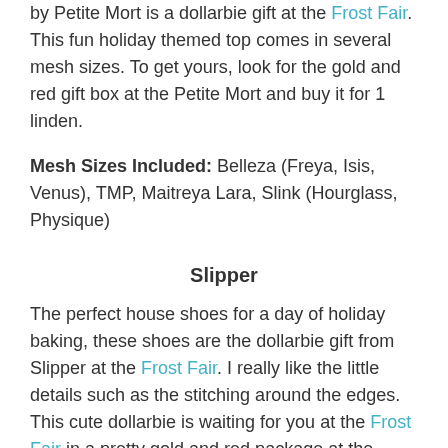by Petite Mort is a dollarbie gift at the Frost Fair. This fun holiday themed top comes in several mesh sizes. To get yours, look for the gold and red gift box at the Petite Mort and buy it for 1 linden.
Mesh Sizes Included: Belleza (Freya, Isis, Venus), TMP, Maitreya Lara, Slink (Hourglass, Physique)
Slipper
The perfect house shoes for a day of holiday baking, these shoes are the dollarbie gift from Slipper at the Frost Fair. I really like the little details such as the stitching around the edges. This cute dollarbie is waiting for you at the Frost Fair in a pretty gold and red package at the Slipper booth. The shoes come in a few sizes, including a standard mesh size with a shoe base.
Mesh Sizes Included: Standard, Slink, Belleza, Maitreya